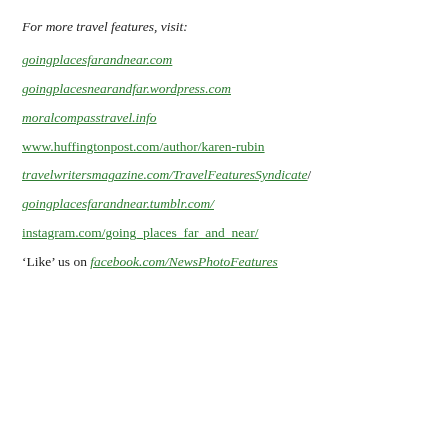For more travel features, visit:
goingplacesfarandnear.com
goingplacesnearandfar.wordpress.com
moralcompasstravel.info
www.huffingtonpost.com/author/karen-rubin
travelwritersmagazine.com/TravelFeaturesSyndicate/
goingplacesfarandnear.tumblr.com/
instagram.com/going_places_far_and_near/
‘Like’ us on facebook.com/NewsPhotoFeatures